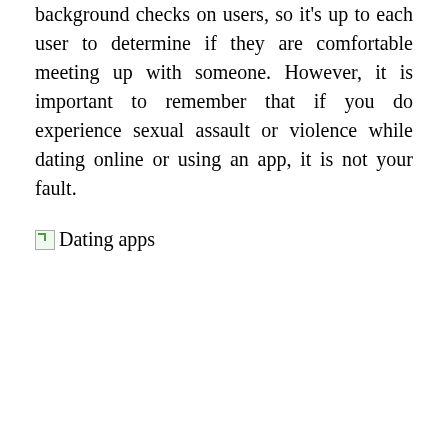background checks on users, so it's up to each user to determine if they are comfortable meeting up with someone. However, it is important to remember that if you do experience sexual assault or violence while dating online or using an app, it is not your fault.
[Figure (illustration): Broken image placeholder with alt text 'Dating apps']